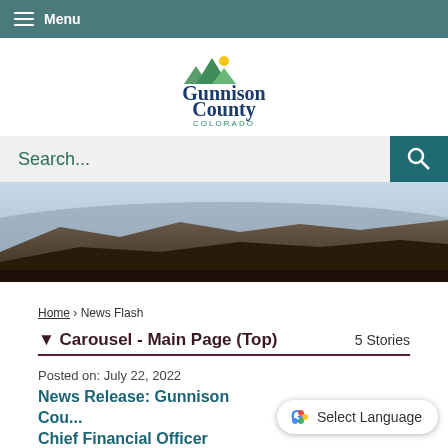Menu
[Figure (logo): Gunnison County Colorado logo with mountain and sun graphic]
Search...
[Figure (photo): Mountain landscape hero image with rocky terrain and sky]
Home › News Flash
▼ Carousel - Main Page (Top)   5 Stories
Posted on: July 22, 2022
News Release: Gunnison Cou... Chief Financial Officer
[Figure (screenshot): Google Translate widget showing 'Select Language' button]